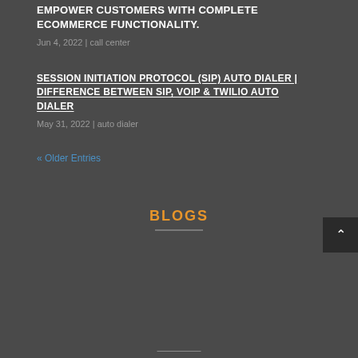EMPOWER CUSTOMERS WITH COMPLETE ECOMMERCE FUNCTIONALITY.
Jun 4, 2022 | call center
SESSION INITIATION PROTOCOL (SIP) AUTO DIALER | DIFFERENCE BETWEEN SIP, VOIP & TWILIO AUTO DIALER
May 31, 2022 | auto dialer
« Older Entries
BLOGS